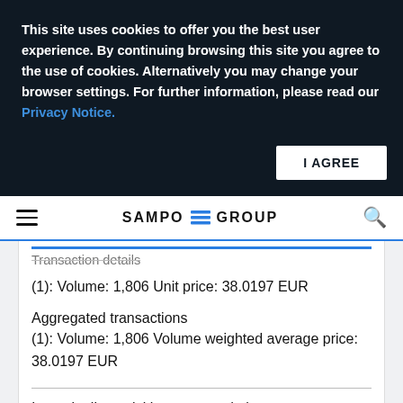This site uses cookies to offer you the best user experience. By continuing browsing this site you agree to the use of cookies. Alternatively you may change your browser settings. For further information, please read our Privacy Notice.
I AGREE
SAMPO GROUP
Transaction details
(1): Volume: 1,806 Unit price: 38.0197 EUR
Aggregated transactions
(1): Volume: 1,806 Volume weighted average price: 38.0197 EUR
In total, all acquisitions reported above are